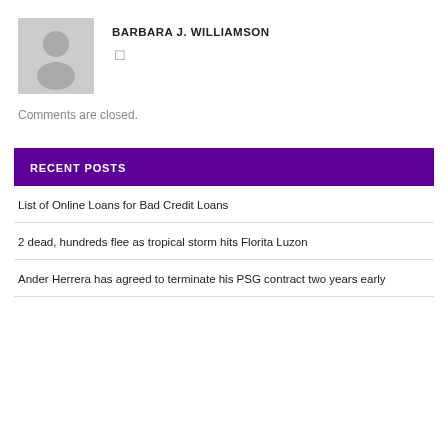[Figure (photo): Gray placeholder avatar silhouette image]
BARBARA J. WILLIAMSON
□
Comments are closed.
RECENT POSTS
List of Online Loans for Bad Credit Loans
2 dead, hundreds flee as tropical storm hits Florita Luzon
Ander Herrera has agreed to terminate his PSG contract two years early